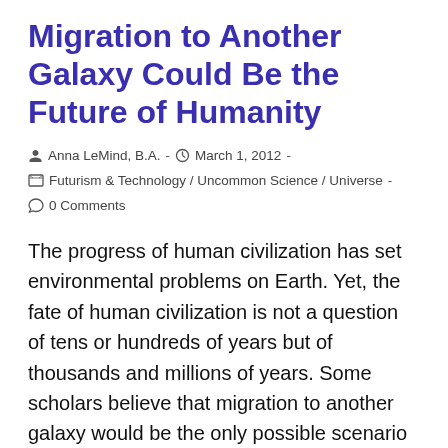Migration to Another Galaxy Could Be the Future of Humanity
Anna LeMind, B.A.  -  March 1, 2012  -  Futurism & Technology / Uncommon Science / Universe  -  0 Comments
The progress of human civilization has set environmental problems on Earth. Yet, the fate of human civilization is not a question of tens or hundreds of years but of thousands and millions of years. Some scholars believe that migration to another galaxy would be the only possible scenario in the...